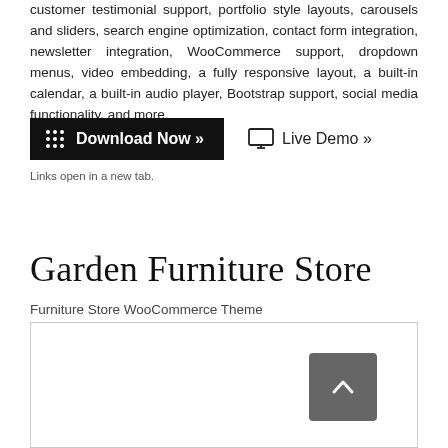customer testimonial support, portfolio style layouts, carousels and sliders, search engine optimization, contact form integration, newsletter integration, WooCommerce support, dropdown menus, video embedding, a fully responsive layout, a built-in calendar, a built-in audio player, Bootstrap support, social media functionality, and more.
[Figure (other): Black 'Download Now »' button with dotted icon on left, and 'Live Demo »' link with monitor icon]
Links open in a new tab.
Garden Furniture Store
Furniture Store WooCommerce Theme
[Figure (screenshot): White image box with a dark gray rounded scroll-to-top button with upward chevron arrow in the upper right area]